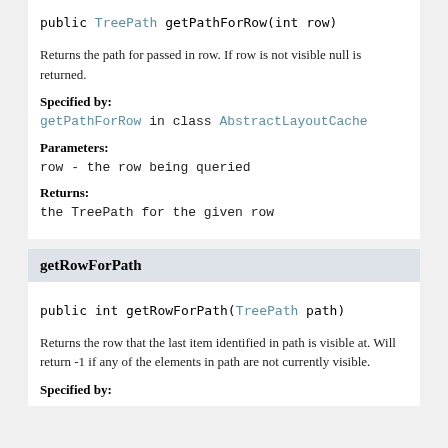public TreePath getPathForRow(int row)
Returns the path for passed in row. If row is not visible null is returned.
Specified by:
getPathForRow in class AbstractLayoutCache
Parameters:
row - the row being queried
Returns:
the TreePath for the given row
getRowForPath
public int getRowForPath(TreePath path)
Returns the row that the last item identified in path is visible at. Will return -1 if any of the elements in path are not currently visible.
Specified by: